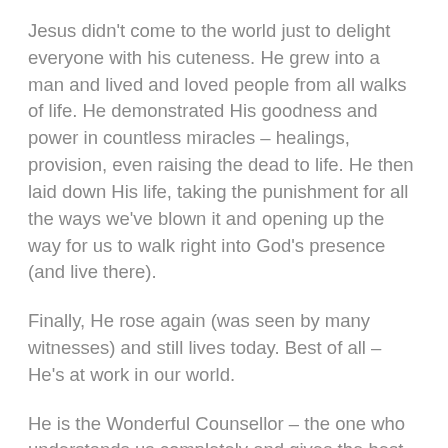Jesus didn't come to the world just to delight everyone with his cuteness. He grew into a man and lived and loved people from all walks of life. He demonstrated His goodness and power in countless miracles – healings, provision, even raising the dead to life. He then laid down His life, taking the punishment for all the ways we've blown it and opening up the way for us to walk right into God's presence (and live there).
Finally, He rose again (was seen by many witnesses) and still lives today. Best of all – He's at work in our world.
He is the Wonderful Counsellor – the one who understands us completely and gives the best advice: